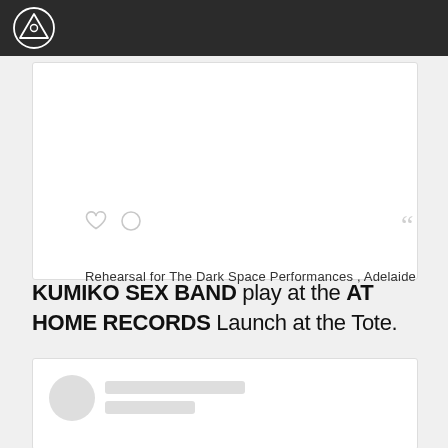Rehearsal for The Dark Space Performances , Adelaide
KUMIKO SEX BAND play at the AT HOME RECORDS Launch at the Tote.
[Figure (other): Social media post card with skeleton loader showing avatar circle and placeholder lines]